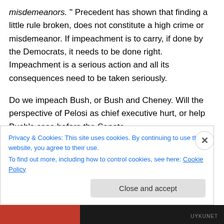misdemeanors. " Precedent has shown that finding a little rule broken, does not constitute a high crime or misdemeanor. If impeachment is to carry, if done by the Democrats, it needs to be done right. Impeachment is a serious action and all its consequences need to be taken seriously.
Do we impeach Bush, or Bush and Cheney. Will the perspective of Pelosi as chief executive hurt, or help Bush’s case before the Senate.
Are the crimes that serious? Impeachment should be
Privacy & Cookies: This site uses cookies. By continuing to use this website, you agree to their use.
To find out more, including how to control cookies, see here: Cookie Policy
Close and accept